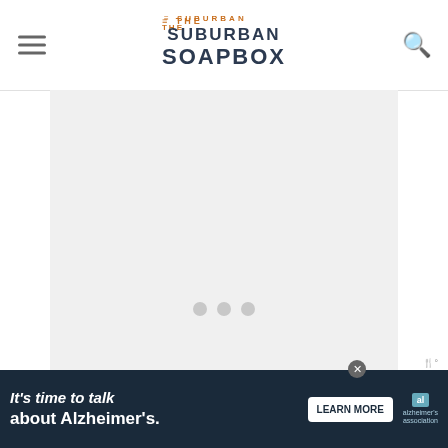THE SUBURBAN SOAPBOX
[Figure (other): Gray placeholder advertisement box with three gray dots in the center]
One of my favorite things about these easy to make meatballs is the addition of sun-dried tomatoes. I absolutely love sun-dried tomatoes, especially in the summertime! There's something so bright, yet savory about them that re... As
[Figure (other): What's Next promo: Turkey Stock with thumbnail image]
[Figure (other): Bottom advertisement banner: It's time to talk about Alzheimer's. LEARN MORE. Alzheimer's association logo.]